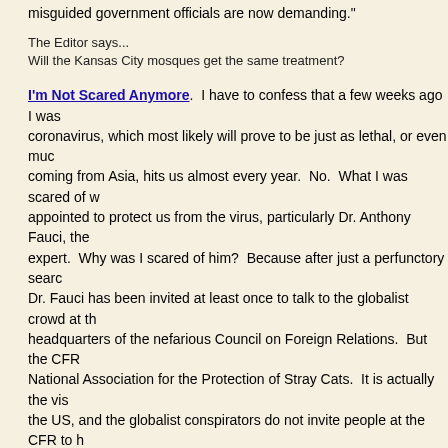misguided government officials are now demanding."
The Editor says...
Will the Kansas City mosques get the same treatment?
I'm Not Scared Anymore.  I have to confess that a few weeks ago I was... coronavirus, which most likely will prove to be just as lethal, or even much... coming from Asia, hits us almost every year.  No.  What I was scared of w... appointed to protect us from the virus, particularly Dr. Anthony Fauci, the... expert.  Why was I scared of him?  Because after just a perfunctory searc... Dr. Fauci has been invited at least once to talk to the globalist crowd at th... headquarters of the nefarious Council on Foreign Relations.  But the CFR... National Association for the Protection of Stray Cats.  It is actually the vis... the US, and the globalist conspirators do not invite people at the CFR to h... suggest to them what they must say if they want their careers to advance...
MSNBC: Americans are so 'freedom obsessed,' they are blinded to t... An MSNBC contributor called out "freedom-obsessed" Americans and the... coronavirus pandemic.  Former New York Times columnist Anand Giridha... the idea of freedom for creating a vulnerability in the country to threats lik... during an appearance on MSNBC's "Morning Joe" on Wednesday [5/6/20...
Illinois governor says churches may not reopen for a year or more b... more than a year before churches are allowed to resume their in-person g... Illinois Gov. J.B. Pritzker.  Pritzker announced a five-phase plan to reopen... businesses, churches, and other religious centers about when they will be... gatherings of up to 10 people will be allowed.  In phase four, gatherings o... Gatherings of more than 50 people will not be allowed until phase five.
Dan Crenshaw reacts to jailing of salon owner, says some leaders 'd... hair salon owner in Texas for defying a coronavirus shutdown order just d...